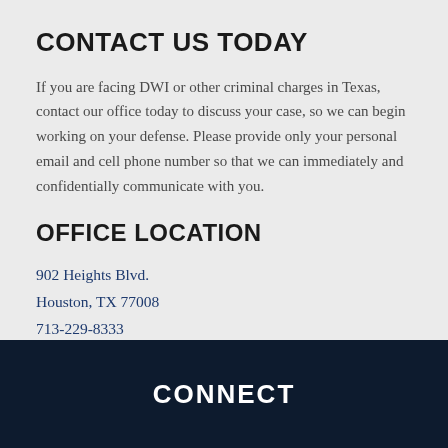CONTACT US TODAY
If you are facing DWI or other criminal charges in Texas, contact our office today to discuss your case, so we can begin working on your defense. Please provide only your personal email and cell phone number so that we can immediately and confidentially communicate with you.
OFFICE LOCATION
902 Heights Blvd.
Houston, TX 77008
713-229-8333
713-583-0205 (fax)
CONNECT